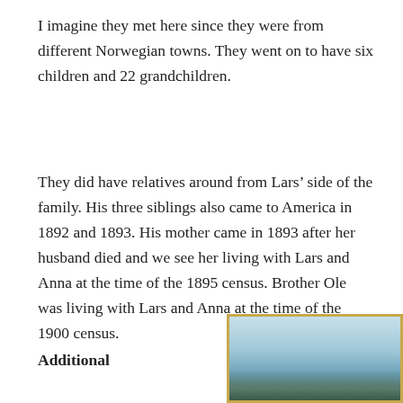I imagine they met here since they were from different Norwegian towns. They went on to have six children and 22 grandchildren.
They did have relatives around from Lars’ side of the family. His three siblings also came to America in 1892 and 1893. His mother came in 1893 after her husband died and we see her living with Lars and Anna at the time of the 1895 census. Brother Ole was living with Lars and Anna at the time of the 1900 census.
Additional
[Figure (photo): A framed photograph or painting with a gold/brown frame showing a landscape with sky and hills/water.]